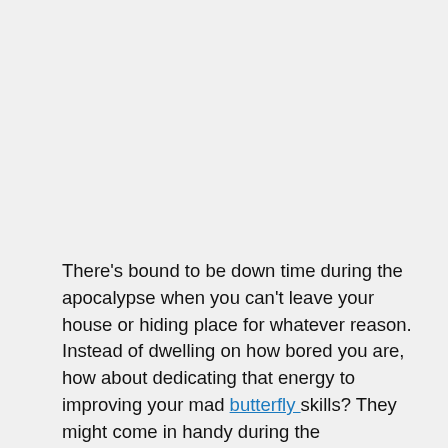There's bound to be down time during the apocalypse when you can't leave your house or hiding place for whatever reason. Instead of dwelling on how bored you are, how about dedicating that energy to improving your mad butterfly skills? They might come in handy during the apocalypse, but when it ends, you'll also be the coolest person you know.